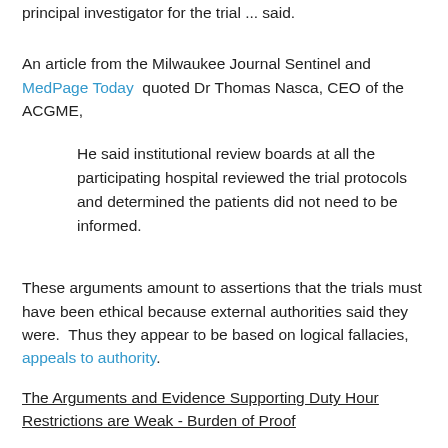principal investigator for the trial ... said.
An article from the Milwaukee Journal Sentinel and MedPage Today quoted Dr Thomas Nasca, CEO of the ACGME,
He said institutional review boards at all the participating hospital reviewed the trial protocols and determined the patients did not need to be informed.
These arguments amount to assertions that the trials must have been ethical because external authorities said they were. Thus they appear to be based on logical fallacies, appeals to authority.
The Arguments and Evidence Supporting Duty Hour Restrictions are Weak - Burden of Proof